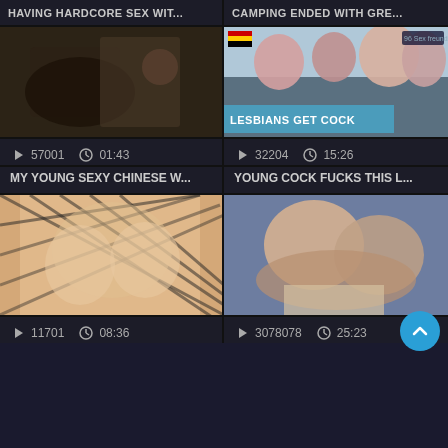HAVING HARDCORE SEX WIT...
CAMPING ENDED WITH GRE...
[Figure (photo): Video thumbnail - dark bedroom scene]
[Figure (photo): Video thumbnail - LESBIANS GET COCK promotional image]
57001  01:43
32204  15:26
MY YOUNG SEXY CHINESE W...
YOUNG COCK FUCKS THIS L...
[Figure (photo): Video thumbnail - fishnet stockings close-up]
[Figure (photo): Video thumbnail - couple intimate scene]
11701  08:36
3078078  25:23